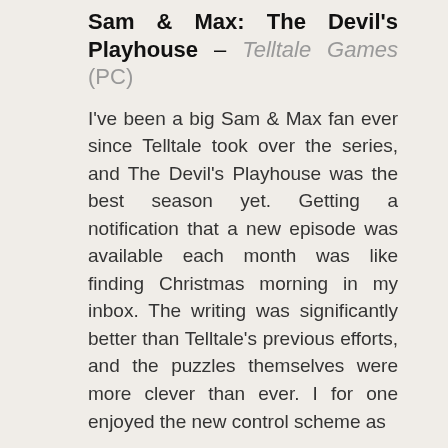Sam & Max: The Devil's Playhouse – Telltale Games (PC)
I've been a big Sam & Max fan ever since Telltale took over the series, and The Devil's Playhouse was the best season yet. Getting a notification that a new episode was available each month was like finding Christmas morning in my inbox. The writing was significantly better than Telltale's previous efforts, and the puzzles themselves were more clever than ever. I for one enjoyed the new control scheme as